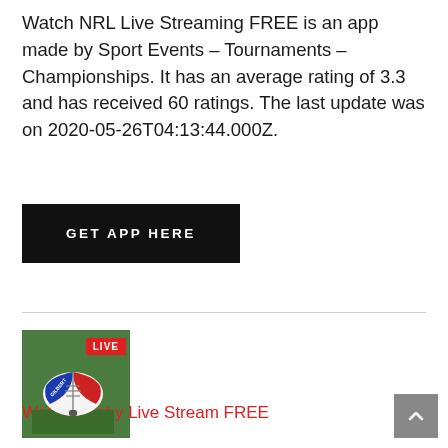Watch NRL Live Streaming FREE is an app made by Sport Events – Tournaments – Championships. It has an average rating of 3.3 and has received 60 ratings. The last update was on 2020-05-26T04:13:44.000Z.
[Figure (other): Black button with white bold uppercase text reading GET APP HERE]
[Figure (photo): App icon showing a rugby ball on green grass with a red LIVE badge in the top right corner]
Watch Rugby Live Stream FREE